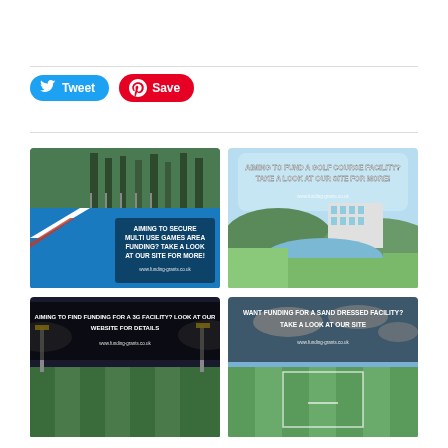[Figure (other): Social sharing buttons: Tweet (Twitter/X) and Save (Pinterest)]
[Figure (photo): Blue multi-use games area surface with white line, trees in background. Text overlay: AIMING TO SECURE MULTI USE GAMES AREA FUNDING? TAKE A LOOK AT OUR SITE FOR MORE! www.funding-grants.co.uk]
[Figure (photo): Golf course with water feature and modern building in background. Text overlay: AIMING TO FUND A GOLF COURSE FACILITY? TAKE A LOOK AT OUR SITE FOR MORE! www.funding-grants.co.uk]
[Figure (photo): Floodlit 3G pitch at night. Text overlay: AIMING TO FIND FUNDING FOR A 3G FACILITY? LOOK AT OUR WEBSITE FOR DETAILS www.funding-grants.co.uk]
[Figure (photo): Sand dressed football facility pitch. Text overlay: WANT FUNDING FOR A SAND DRESSED FACILITY? TAKE A LOOK AT OUR SITE www.funding-grants.co.uk]